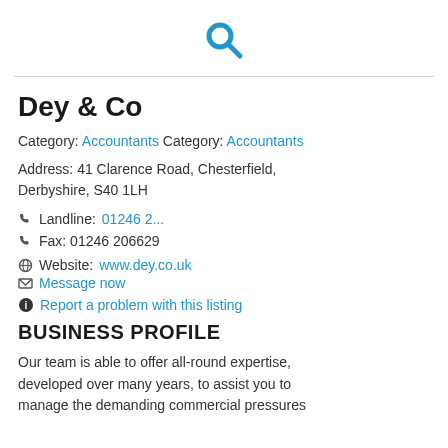[Figure (other): Blue magnifying glass search icon]
Dey & Co
Category: Accountants Category: Accountants
Address: 41 Clarence Road, Chesterfield, Derbyshire, S40 1LH
Landline: 01246 2...
Fax: 01246 206629
Website: www.dey.co.uk
Message now
Report a problem with this listing
BUSINESS PROFILE
Our team is able to offer all-round expertise, developed over many years, to assist you to manage the demanding commercial pressures